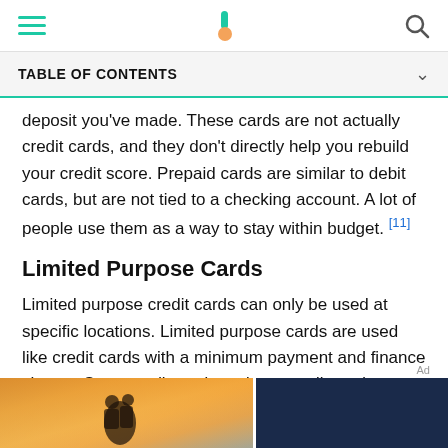TABLE OF CONTENTS
deposit you've made. These cards are not actually credit cards, and they don't directly help you rebuild your credit score. Prepaid cards are similar to debit cards, but are not tied to a checking account. A lot of people use them as a way to stay within budget. [11]
Limited Purpose Cards
Limited purpose credit cards can only be used at specific locations. Limited purpose cards are used like credit cards with a minimum payment and finance charge. Store credit cards and gas credit cards are
[Figure (photo): Advertisement banner showing a couple silhouette against a sunset background with a dark blue panel on the right]